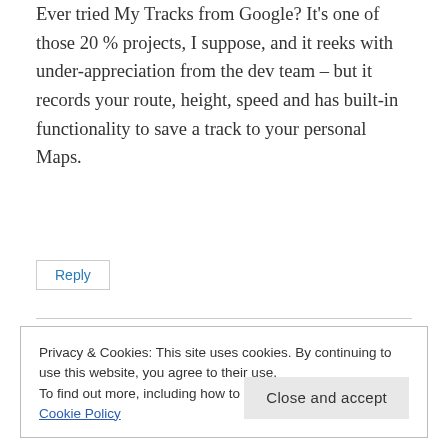Ever tried My Tracks from Google? It's one of those 20 % projects, I suppose, and it reeks with under-appreciation from the dev team – but it records your route, height, speed and has built-in functionality to save a track to your personal Maps.
Reply
Privacy & Cookies: This site uses cookies. By continuing to use this website, you agree to their use.
To find out more, including how to control cookies, see here: Cookie Policy
Close and accept